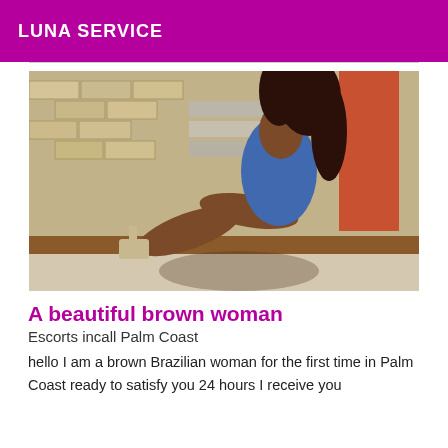LUNA SERVICE
[Figure (photo): A woman with long curly brown hair wearing a blue one-piece outfit, seated and posing against a brick wall background.]
A beautiful brown woman
Escorts incall Palm Coast
hello I am a brown Brazilian woman for the first time in Palm Coast ready to satisfy you 24 hours I receive you